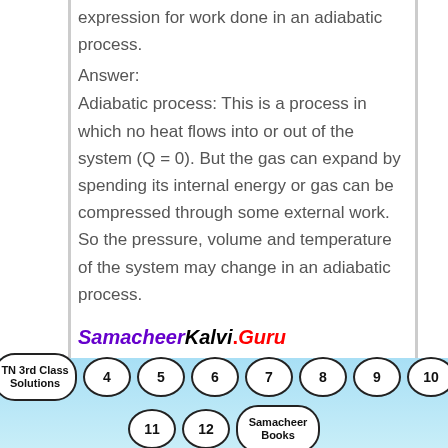expression for work done in an adiabatic process.
Answer:
Adiabatic process: This is a process in which no heat flows into or out of the system (Q = 0). But the gas can expand by spending its internal energy or gas can be compressed through some external work. So the pressure, volume and temperature of the system may change in an adiabatic process.
SamacheerKalvi.Guru
For an adiabatic process, the first law becomes ΔU = W
TN 3rd Class Solutions  4  5  6  7  8  9  10  11  12  Samacheer Books